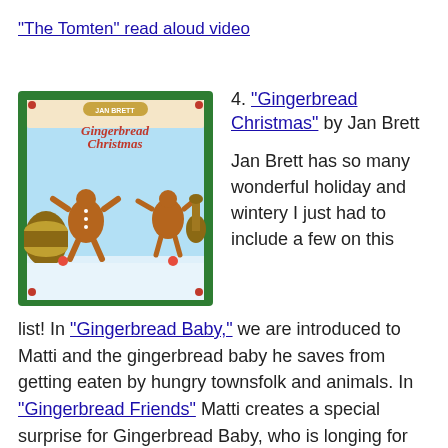"The Tomten" read aloud video
[Figure (illustration): Book cover of 'Gingerbread Christmas' by Jan Brett, showing gingerbread figures playing instruments with a decorative green holly border]
4. "Gingerbread Christmas" by Jan Brett
Jan Brett has so many wonderful holiday and wintery I just had to include a few on this
list! In "Gingerbread Baby," we are introduced to Matti and the gingerbread baby he saves from getting eaten by hungry townsfolk and animals. In "Gingerbread Friends" Matti creates a special surprise for Gingerbread Baby, who is longing for some friends. And finally, in "Gingerbread